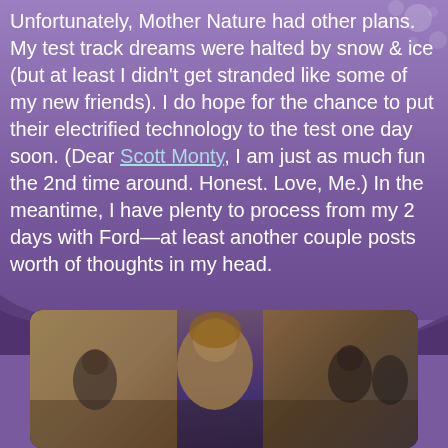Unfortunately, Mother Nature had other plans. My test track dreams were halted by snow & ice (but at least I didn't get stranded like some of my new friends). I do hope for the chance to put their electrified technology to the test one day soon. (Dear Scott Monty, I am just as much fun the 2nd time around. Honest. Love, Me.) In the meantime, I have plenty to process from my 2 days with Ford—at least another couple posts worth of thoughts in my head.
[Figure (photo): Indoor event photo showing a woman with blonde hair smiling at the camera, seated at a table. Purple decorative panels are visible in the background. Other people are seated in the background in what appears to be a conference or event venue.]